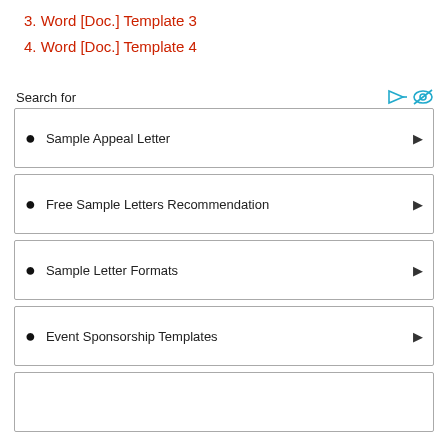3. Word [Doc.] Template 3
4. Word [Doc.] Template 4
Search for
Sample Appeal Letter
Free Sample Letters Recommendation
Sample Letter Formats
Event Sponsorship Templates